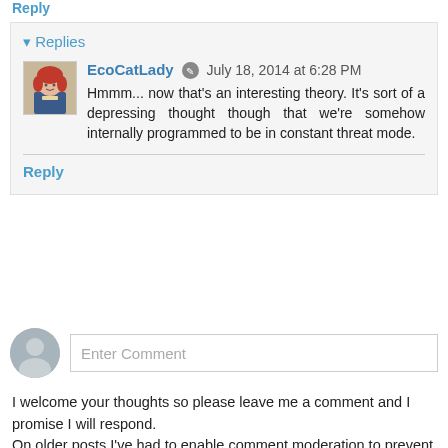Reply
Replies
EcoCatLady  July 18, 2014 at 6:28 PM
Hmmm... now that's an interesting theory. It's sort of a depressing thought though that we're somehow internally programmed to be in constant threat mode.
Reply
Enter Comment
I welcome your thoughts so please leave me a comment and I promise I will respond.
On older posts I've had to enable comment moderation to prevent spammers, so don't worry if